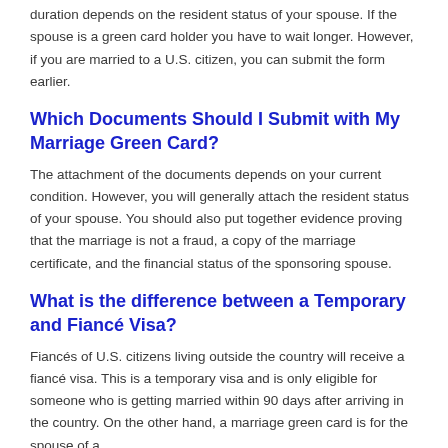duration depends on the resident status of your spouse. If the spouse is a green card holder you have to wait longer. However, if you are married to a U.S. citizen, you can submit the form earlier.
Which Documents Should I Submit with My Marriage Green Card?
The attachment of the documents depends on your current condition. However, you will generally attach the resident status of your spouse. You should also put together evidence proving that the marriage is not a fraud, a copy of the marriage certificate, and the financial status of the sponsoring spouse.
What is the difference between a Temporary and Fiancé Visa?
Fiancés of U.S. citizens living outside the country will receive a fiancé visa. This is a temporary visa and is only eligible for someone who is getting married within 90 days after arriving in the country. On the other hand, a marriage green card is for the spouse of a